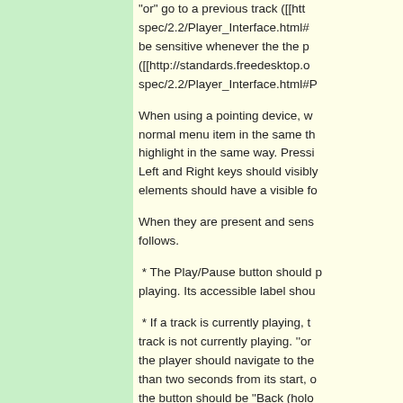"or" go to a previous track ([[http://standards.freedesktop.org/mpris-spec/2.2/Player_Interface.html#Previous]]). It should be sensitive whenever the the player is open ([[http://standards.freedesktop.org/mpris-spec/2.2/Player_Interface.html#Prop...
When using a pointing device, w... normal menu item in the same t... highlight in the same way. Pressi... Left and Right keys should visibly... elements should have a visible fo...
When they are present and sens... follows.
* The Play/Pause button should p... playing. Its accessible label shou...
* If a track is currently playing, t... track is not currently playing, ''or''... the player should navigate to the... than two seconds from its start, ... the button should be "Back (holo...